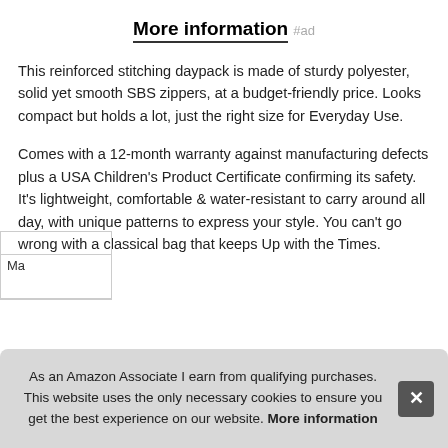More information #ad
This reinforced stitching daypack is made of sturdy polyester, solid yet smooth SBS zippers, at a budget-friendly price. Looks compact but holds a lot, just the right size for Everyday Use.
Comes with a 12-month warranty against manufacturing defects plus a USA Children's Product Certificate confirming its safety. It's lightweight, comfortable & water-resistant to carry around all day, with unique patterns to express your style. You can't go wrong with a classical bag that keeps Up with the Times.
As an Amazon Associate I earn from qualifying purchases. This website uses the only necessary cookies to ensure you get the best experience on our website. More information